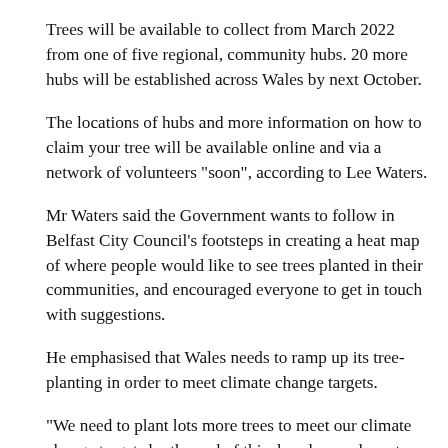Trees will be available to collect from March 2022 from one of five regional, community hubs. 20 more hubs will be established across Wales by next October.
The locations of hubs and more information on how to claim your tree will be available online and via a network of volunteers "soon", according to Lee Waters.
Mr Waters said the Government wants to follow in Belfast City Council's footsteps in creating a heat map of where people would like to see trees planted in their communities, and encouraged everyone to get in touch with suggestions.
He emphasised that Wales needs to ramp up its tree-planting in order to meet climate change targets.
"We need to plant lots more trees to meet our climate change targets by the end of this decade - we have to plant 86 million more trees in Wales," he said.